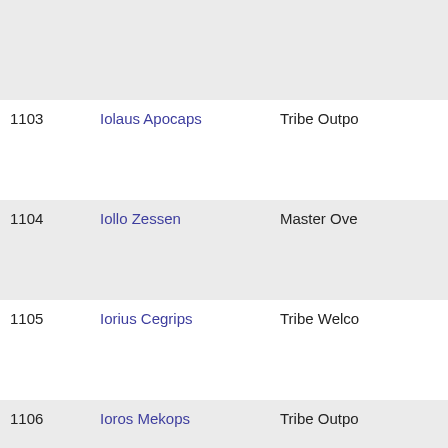| ID | Name | Type |
| --- | --- | --- |
|  |  |  |
| 1103 | Iolaus Apocaps | Tribe Outpo... |
| 1104 | Iollo Zessen | Master Ove... |
| 1105 | Iorius Cegrips | Tribe Welco... |
| 1106 | Ioros Mekops | Tribe Outpo... |
| 1107 | Iosse Lyseus | Prospector... |